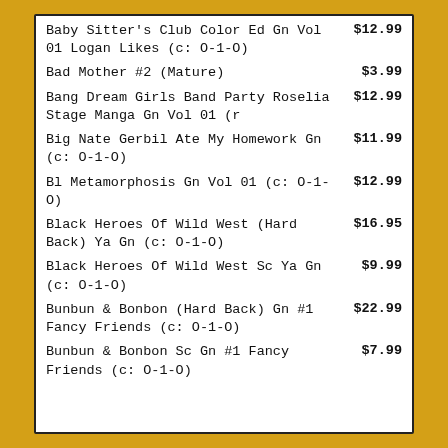Baby Sitter's Club Color Ed Gn Vol 01 Logan Likes (c: O-1-O)
Bad Mother #2 (Mature)
Bang Dream Girls Band Party Roselia Stage Manga Gn Vol 01 (r
Big Nate Gerbil Ate My Homework Gn (c: O-1-O)
Bl Metamorphosis Gn Vol 01 (c: O-1-O)
Black Heroes Of Wild West (Hard Back) Ya Gn (c: O-1-O)
Black Heroes Of Wild West Sc Ya Gn (c: O-1-O)
Bunbun & Bonbon (Hard Back) Gn #1 Fancy Friends (c: O-1-O)
Bunbun & Bonbon Sc Gn #1 Fancy Friends (c: O-1-O)